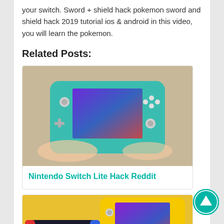your switch. Sword + shield hack pokemon sword and shield hack 2019 tutorial ios & android in this video, you will learn the pokemon.
Related Posts:
[Figure (photo): A hand holding a teal Nintendo Switch Lite gaming device with a game displayed on the screen, placed on a beige surface.]
Nintendo Switch Lite Hack Reddit
[Figure (photo): Two Nintendo Switch Lite devices being held by hands, one yellow and one with red/blue Joy-Cons, with games displayed on the screens.]